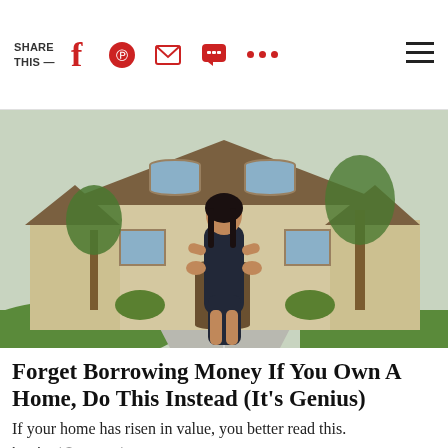SHARE THIS —
[Figure (photo): Woman in dark dress standing in front of a large suburban house with trees and driveway]
Forget Borrowing Money If You Own A Home, Do This Instead (It's Genius)
If your home has risen in value, you better read this.
Lendgo | Sponsored